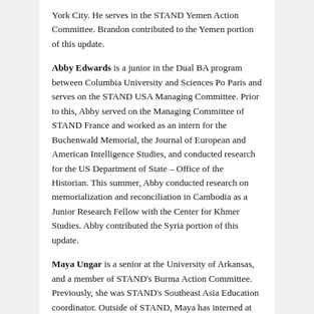York City. He serves in the STAND Yemen Action Committee. Brandon contributed to the Yemen portion of this update.
Abby Edwards is a junior in the Dual BA program between Columbia University and Sciences Po Paris and serves on the STAND USA Managing Committee. Prior to this, Abby served on the Managing Committee of STAND France and worked as an intern for the Buchenwald Memorial, the Journal of European and American Intelligence Studies, and conducted research for the US Department of State – Office of the Historian. This summer, Abby conducted research on memorialization and reconciliation in Cambodia as a Junior Research Fellow with the Center for Khmer Studies. Abby contributed the Syria portion of this update.
Maya Ungar is a senior at the University of Arkansas, and a member of STAND's Burma Action Committee. Previously, she was STAND's Southeast Asia Education coordinator. Outside of STAND, Maya has interned at